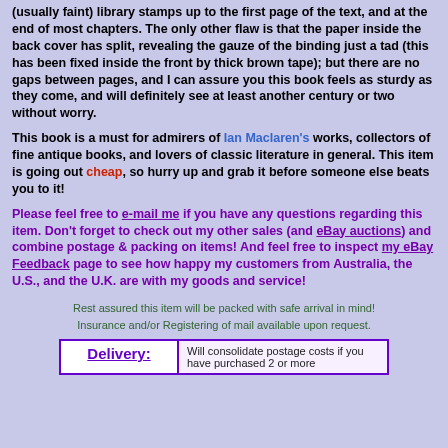(usually faint) library stamps up to the first page of the text, and at the end of most chapters. The only other flaw is that the paper inside the back cover has split, revealing the gauze of the binding just a tad (this has been fixed inside the front by thick brown tape); but there are no gaps between pages, and I can assure you this book feels as sturdy as they come, and will definitely see at least another century or two without worry.
This book is a must for admirers of Ian Maclaren's works, collectors of fine antique books, and lovers of classic literature in general. This item is going out cheap, so hurry up and grab it before someone else beats you to it!
Please feel free to e-mail me if you have any questions regarding this item. Don't forget to check out my other sales (and eBay auctions) and combine postage & packing on items! And feel free to inspect my eBay Feedback page to see how happy my customers from Australia, the U.S., and the U.K. are with my goods and service!
Rest assured this item will be packed with safe arrival in mind! Insurance and/or Registering of mail available upon request.
| Delivery: | Will consolidate postage costs if you have purchased 2 or more |
| --- | --- |